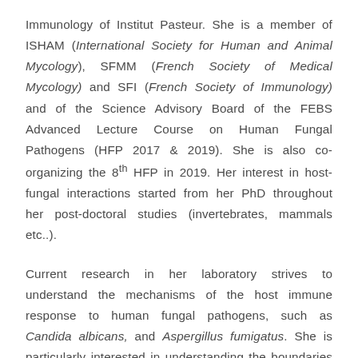Immunology of Institut Pasteur. She is a member of ISHAM (International Society for Human and Animal Mycology), SFMM (French Society of Medical Mycology) and SFI (French Society of Immunology) and of the Science Advisory Board of the FEBS Advanced Lecture Course on Human Fungal Pathogens (HFP 2017 & 2019). She is also co-organizing the 8th HFP in 2019. Her interest in host-fungal interactions started from her PhD throughout her post-doctoral studies (invertebrates, mammals etc..).
Current research in her laboratory strives to understand the mechanisms of the host immune response to human fungal pathogens, such as Candida albicans, and Aspergillus fumigatus. She is particularly interested in understanding the boundaries of immunologic memory, the role of innate immune